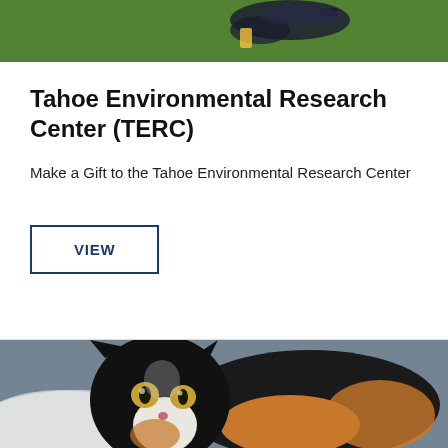[Figure (photo): Top portion of a photo showing a bird (duck or water bird) on green grass background]
Tahoe Environmental Research Center (TERC)
Make a Gift to the Tahoe Environmental Research Center
VIEW
[Figure (photo): Photo of a calico/tortoiseshell cat with black, white, and orange fur, looking at camera, resting on a white towel or blanket]